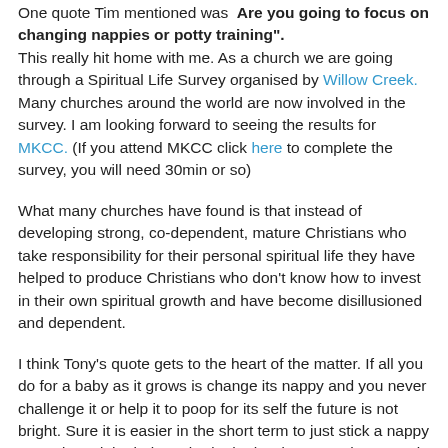One quote Tim mentioned was "Are you going to focus on changing nappies or potty training". This really hit home with me. As a church we are going through a Spiritual Life Survey organised by Willow Creek. Many churches around the world are now involved in the survey. I am looking forward to seeing the results for MKCC. (If you attend MKCC click here to complete the survey, you will need 30min or so)
What many churches have found is that instead of developing strong, co-dependent, mature Christians who take responsibility for their personal spiritual life they have helped to produce Christians who don't know how to invest in their own spiritual growth and have become disillusioned and dependent.
I think Tony's quote gets to the heart of the matter. If all you do for a baby as it grows is change its nappy and you never challenge it or help it to poop for its self the future is not bright. Sure it is easier in the short term to just stick a nappy on and send the baby to bed. The harder route short term is to work with the toddler through bed-wetting and other accidents...